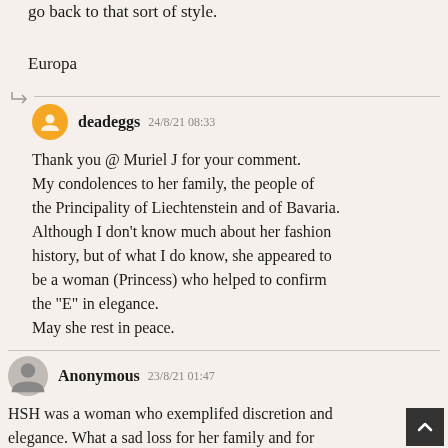go back to that sort of style.
Europa
deadeggs  24/8/21 08:33
Thank you @ Muriel J for your comment. My condolences to her family, the people of the Principality of Liechtenstein and of Bavaria. Although I don't know much about her fashion history, but of what I do know, she appeared to be a woman (Princess) who helped to confirm the "E" in elegance.
May she rest in peace.
Anonymous  23/8/21 01:47
HSH was a woman who exemplifed discretion and elegance. What a sad loss for her family and for Liechtenstein. May she RIP...